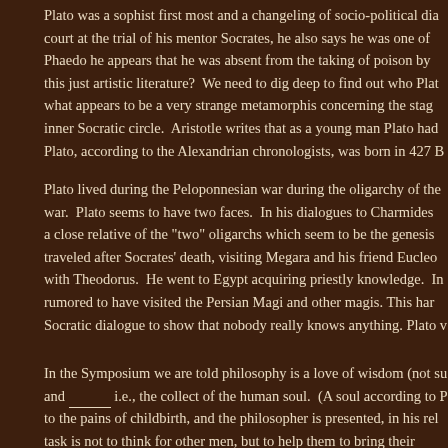Plato was a sophist first most and a changeling of socio-political dia... court at the trial of his mentor Socrates, he also says he was one of ... Phaedo he appears that he was absent from the taking of poison by ... this just artistic literature?  We need to dig deep to find out who Plat... what appears to be a very strange metamorphis concerning the stag... inner Socratic circle.  Aristotle writes that as a young man Plato had ... Plato, according to the Alexandrian chronologists, was born in 427 B...
Plato lived during the Peloponnesian war during the oligarchy of the ... war.  Plato seems to have two faces.  In his dialogues to Charmides ... a close relative of the "two" oligarchs which seem to be the genesis ... traveled after Socrates' death, visiting Megara and his friend Eucleo... with Theodorus.  He went to Egypt acquiring priestly knowledge.  In ... rumored to have visited the Persian Magi and other magis. This har... Socratic dialogue to show that nobody really knows anything. Plato v...
In the Symposium we are told philosophy is a love of wisdom (not su... and _____ i.e., the collect of the human soul.  (A soul according to P... to the pains of childbirth, and the philosopher is presented, in his rel... task is not to think for other men, but to help them to bring their...